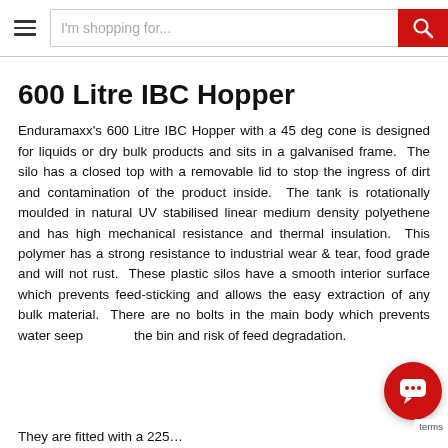I'm shopping for...
600 Litre IBC Hopper
Enduramaxx's 600 Litre IBC Hopper with a 45 deg cone is designed for liquids or dry bulk products and sits in a galvanised frame. The silo has a closed top with a removable lid to stop the ingress of dirt and contamination of the product inside. The tank is rotationally moulded in natural UV stabilised linear medium density polyethene and has high mechanical resistance and thermal insulation. This polymer has a strong resistance to industrial wear & tear, food grade and will not rust. These plastic silos have a smooth interior surface which prevents feed-sticking and allows the easy extraction of any bulk material. There are no bolts in the main body which prevents water seep... the bin and risk of feed degradation.
They are fitted with a 225...